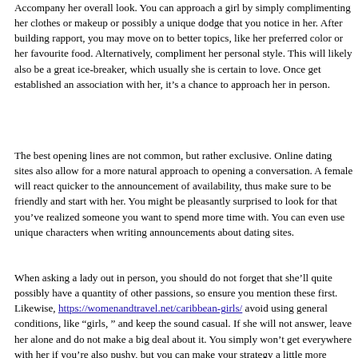Accompany her overall look. You can approach a girl by simply complimenting her clothes or makeup or possibly a unique dodge that you notice in her. After building rapport, you may move on to better topics, like her preferred color or her favourite food. Alternatively, compliment her personal style. This will likely also be a great ice-breaker, which usually she is certain to love. Once get established an association with her, it’s a chance to approach her in person.
The best opening lines are not common, but rather exclusive. Online dating sites also allow for a more natural approach to opening a conversation. A female will react quicker to the announcement of availability, thus make sure to be friendly and start with her. You might be pleasantly surprised to look for that you’ve realized someone you want to spend more time with. You can even use unique characters when writing announcements about dating sites.
When asking a lady out in person, you should do not forget that she’ll quite possibly have a quantity of other passions, so ensure you mention these first. Likewise, https://womenandtravel.net/caribbean-girls/ avoid using general conditions, like “girls, ” and keep the sound casual. If she will not answer, leave her alone and do not make a big deal about it. You simply won’t get everywhere with her if you’re also pushy, but you can make your strategy a little more personal.